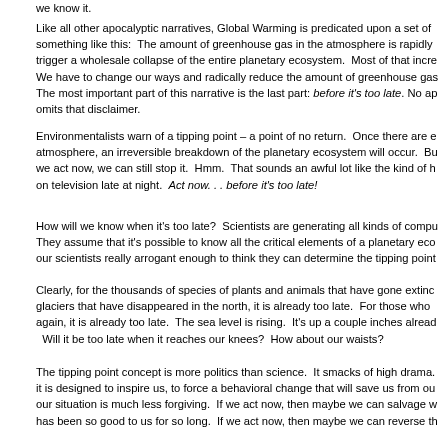we know it.
Like all other apocalyptic narratives, Global Warming is predicated upon a set of something like this: The amount of greenhouse gas in the atmosphere is rapidly trigger a wholesale collapse of the entire planetary ecosystem. Most of that incre We have to change our ways and radically reduce the amount of greenhouse gas The most important part of this narrative is the last part: before it's too late. No ap omits that disclaimer.
Environmentalists warn of a tipping point – a point of no return. Once there are e atmosphere, an irreversible breakdown of the planetary ecosystem will occur. Bu we act now, we can still stop it. Hmm. That sounds an awful lot like the kind of h on television late at night. Act now. . . before it's too late!
How will we know when it's too late? Scientists are generating all kinds of compu They assume that it's possible to know all the critical elements of a planetary eco our scientists really arrogant enough to think they can determine the tipping point
Clearly, for the thousands of species of plants and animals that have gone extinc glaciers that have disappeared in the north, it is already too late. For those who again, it is already too late. The sea level is rising. It's up a couple inches alread Will it be too late when it reaches our knees? How about our waists?
The tipping point concept is more politics than science. It smacks of high drama. it is designed to inspire us, to force a behavioral change that will save us from ou our situation is much less forgiving. If we act now, then maybe we can salvage w has been so good to us for so long. If we act now, then maybe we can reverse th